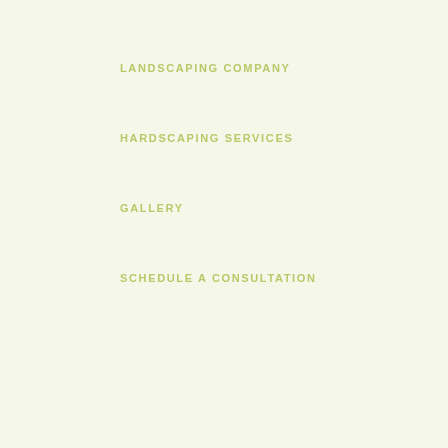LANDSCAPING COMPANY
HARDSCAPING SERVICES
GALLERY
SCHEDULE A CONSULTATION